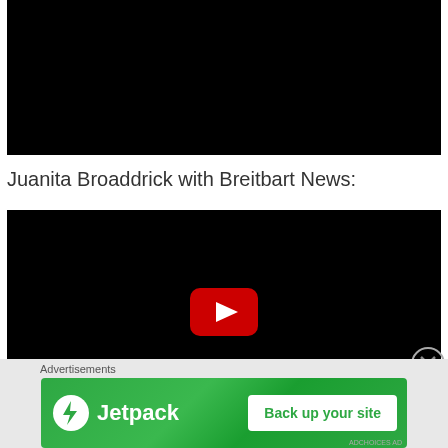[Figure (screenshot): Black video player thumbnail at top of page]
Juanita Broaddrick with Breitbart News:
[Figure (screenshot): Black YouTube video player with red play button in center]
[Figure (screenshot): Close/dismiss button (circled X) on right side]
Advertisements
[Figure (screenshot): Jetpack advertisement banner: green background with Jetpack logo and 'Back up your site' button]